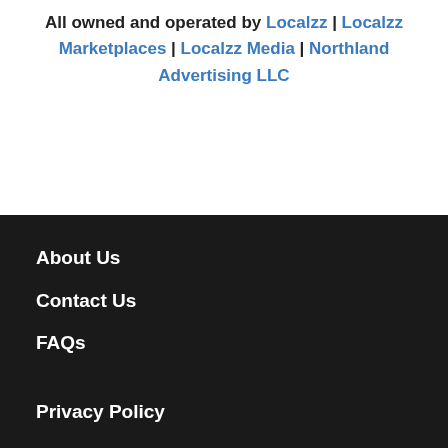All owned and operated by Localzz | Localzz Marketplaces | Localzz Media | Northland Advertising LLC
About Us
Contact Us
FAQs
Privacy Policy